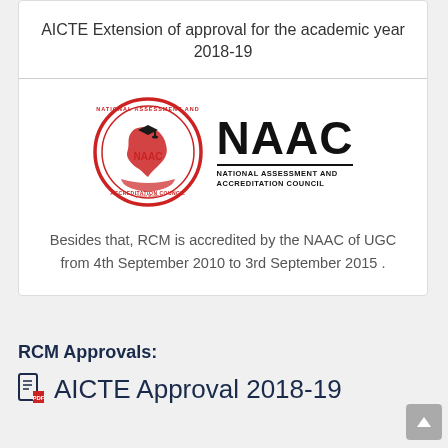AICTE Extension of approval for the academic year 2018-19
[Figure (logo): NAAC logo with circular emblem showing India map and NAAC text, alongside NAAC wordmark with NATIONAL ASSESSMENT AND ACCREDITATION COUNCIL text]
Besides that, RCM is accredited by the NAAC of UGC from 4th September 2010 to 3rd September 2015 .
RCM Approvals:
AICTE Approval 2018-19